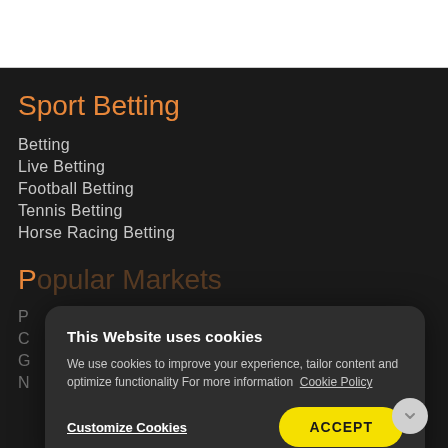Sport Betting
Betting
Live Betting
Football Betting
Tennis Betting
Horse Racing Betting
Popular Markets
This Website uses cookies
We use cookies to improve your experience, tailor content and optimize functionality For more information Cookie Policy
Customize Cookies   ACCEPT